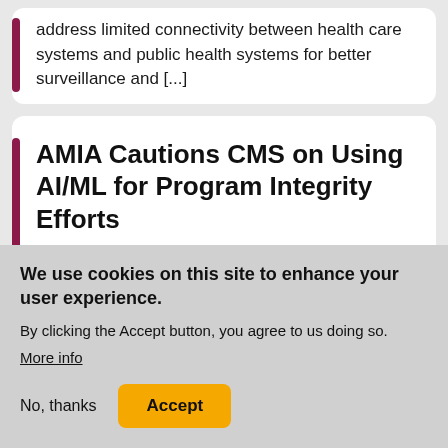address limited connectivity between health care systems and public health systems for better surveillance and [...]
AMIA Cautions CMS on Using AI/ML for Program Integrity Efforts
We use cookies on this site to enhance your user experience.
By clicking the Accept button, you agree to us doing so.
More info
No, thanks
Accept